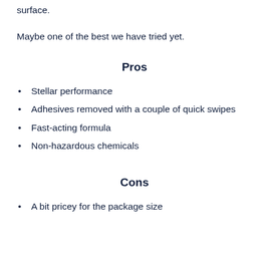surface.
Maybe one of the best we have tried yet.
Pros
Stellar performance
Adhesives removed with a couple of quick swipes
Fast-acting formula
Non-hazardous chemicals
Cons
A bit pricey for the package size